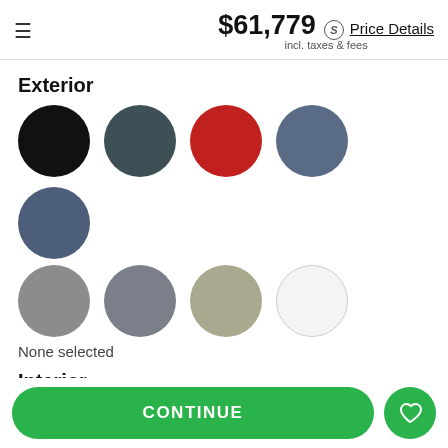$61,779 incl. taxes & fees  Price Details
Exterior
[Figure (other): Color swatches for exterior: black, dark slate, red, steel blue, navy, gray, blue-gray, sage, white]
None selected
Interior
[Figure (other): Color swatches for interior: black, light gray, medium gray, lighter gray]
None selected
CONTINUE